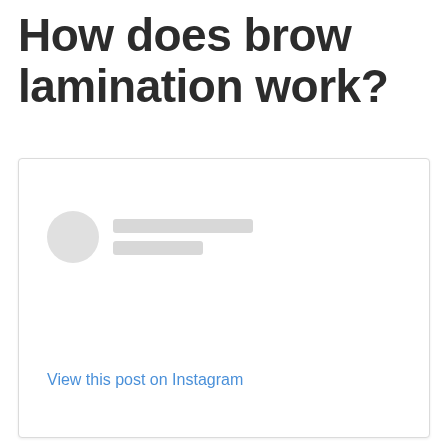How does brow lamination work?
[Figure (screenshot): Instagram embedded post card with a loading/placeholder state showing a circular avatar placeholder and two rectangular placeholder lines for username, with a 'View this post on Instagram' link at the bottom.]
View this post on Instagram